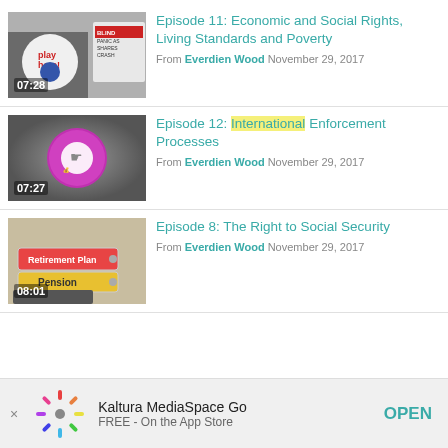Episode 11: Economic and Social Rights, Living Standards and Poverty
From Everdien Wood November 29, 2017
Episode 12: International Enforcement Processes
From Everdien Wood November 29, 2017
Episode 8: The Right to Social Security
From Everdien Wood November 29, 2017
Kaltura MediaSpace Go
FREE - On the App Store
OPEN